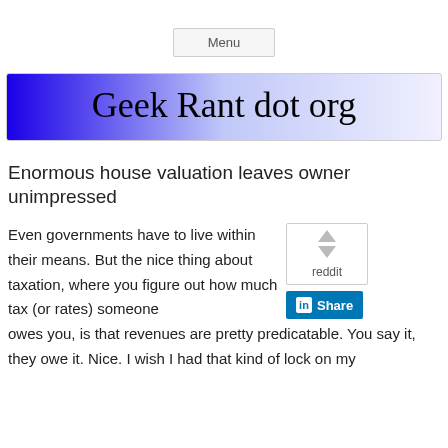Menu
Geek Rant dot org
Enormous house valuation leaves owner unimpressed
Even governments have to live within their means. But the nice thing about taxation, where you figure out how much tax (or rates) someone owes you, is that revenues are pretty predicatable. You say it, they owe it. Nice. I wish I had that kind of lock on my